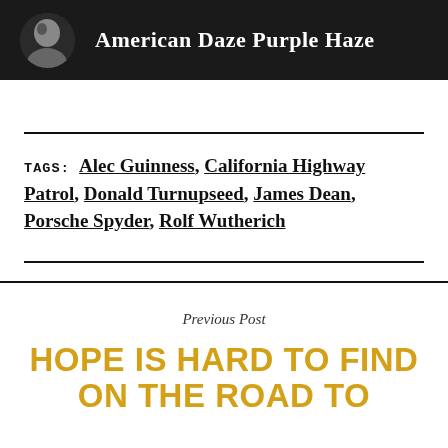American Daze Purple Haze
TAGS: Alec Guinness, California Highway Patrol, Donald Turnupseed, James Dean, Porsche Spyder, Rolf Wutherich
Previous Post
HOPE IS HARD TO FIND ON THE ROAD TO